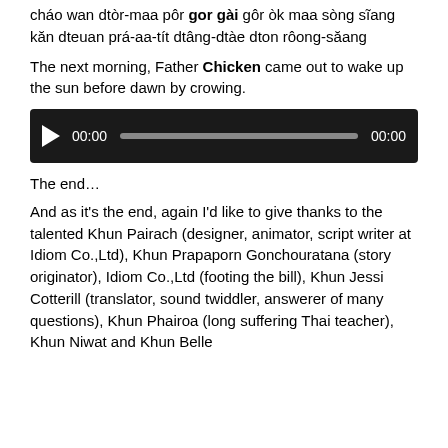cháo wan dtòr-maa pôr gor gài gôr òk maa sòng sĩang kăn dteuan prá-aa-tít dtâng-dtàe dton rôong-săang
The next morning, Father Chicken came out to wake up the sun before dawn by crowing.
[Figure (other): Audio player with play button, 00:00 start time, progress bar, and 00:00 end time on dark background]
The end…
And as it's the end, again I'd like to give thanks to the talented Khun Pairach (designer, animator, script writer at Idiom Co.,Ltd), Khun Prapaporn Gonchouratana (story originator), Idiom Co.,Ltd (footing the bill), Khun Jessi Cotterill (translator, sound twiddler, answerer of many questions), Khun Phairoa (long suffering Thai teacher), Khun Niwat and Khun Belle